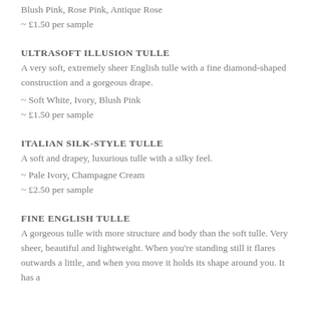Blush Pink, Rose Pink, Antique Rose
~ £1.50 per sample
ULTRASOFT ILLUSION TULLE
A very soft, extremely sheer English tulle with a fine diamond-shaped construction and a gorgeous drape.
~ Soft White, Ivory, Blush Pink
~ £1.50 per sample
ITALIAN SILK-STYLE TULLE
A soft and drapey, luxurious tulle with a silky feel.
~ Pale Ivory, Champagne Cream
~ £2.50 per sample
FINE ENGLISH TULLE
A gorgeous tulle with more structure and body than the soft tulle. Very sheer, beautiful and lightweight. When you're standing still it flares outwards a little, and when you move it holds its shape around you. It has a